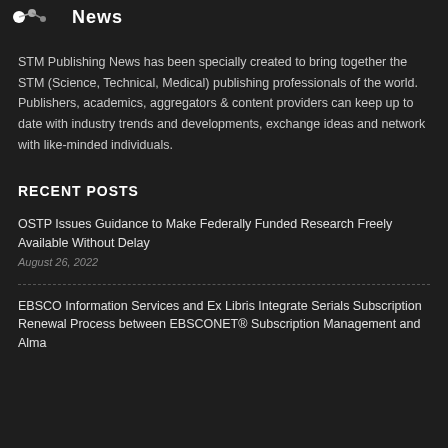News
STM Publishing News has been specially created to bring together the STM (Science, Technical, Medical) publishing professionals of the world. Publishers, academics, aggregators & content providers can keep up to date with industry trends and developments, exchange ideas and network with like-minded individuals.
RECENT POSTS
OSTP Issues Guidance to Make Federally Funded Research Freely Available Without Delay
August 26, 2022
EBSCO Information Services and Ex Libris Integrate Serials Subscription Renewal Process between EBSCONET® Subscription Management and Alma